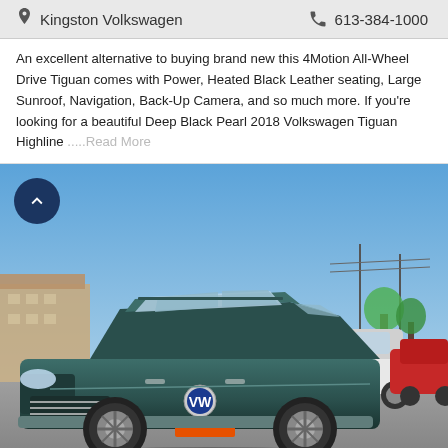Kingston Volkswagen  613-384-1000
An excellent alternative to buying brand new this 4Motion All-Wheel Drive Tiguan comes with Power, Heated Black Leather seating, Large Sunroof, Navigation, Back-Up Camera, and so much more. If you're looking for a beautiful Deep Black Pearl 2018 Volkswagen Tiguan Highline .....Read More
[Figure (photo): A dark teal/deep green 2018 Volkswagen Tiguan Highline SUV photographed in a dealership parking lot on a sunny day with blue sky. Other vehicles are visible in the background including a white SUV and a red car.]